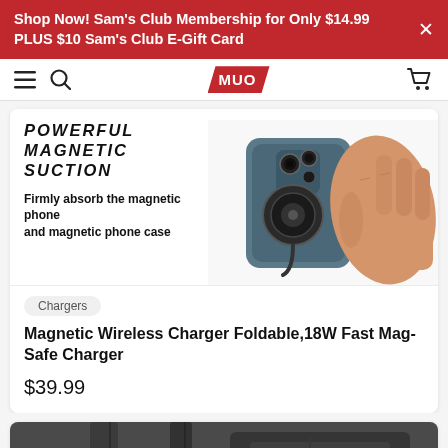Shop Now! Sam's Club Membership for Only $14.99 PLUS $10 Sam's Club E-Gift Card
MUO (logo) — navigation bar with hamburger menu, search, cart
POWERFUL MAGNETIC SUCTION
Firmly absorb the magnetic phone and magnetic phone case
[Figure (photo): A hand holding an iPhone with a magnetic wireless charger attached to the back of the phone, shown from behind.]
Chargers
Magnetic Wireless Charger Foldable,18W Fast Mag-Safe Charger
$39.99
[Figure (photo): Partial view of a car back seat organizer/bag in dark gray/black material with straps, partially visible at the bottom of the page.]